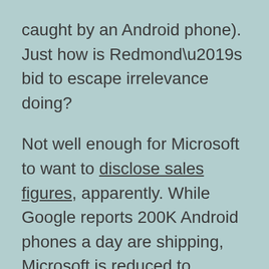caught by an Android phone). Just how is Redmond’s bid to escape irrelevance doing?
Not well enough for Microsoft to want to disclose sales figures, apparently. While Google reports 200K Android phones a day are shipping, Microsoft is reduced to gamely insisting that it is confident Windows 7 will eventually succeed. At least one of its channel partners is, shall we say, less sanguine.
James Choi, a strategist at handset maker LG, says “From an industry perspective we had a high expectation, but from a consumer point of